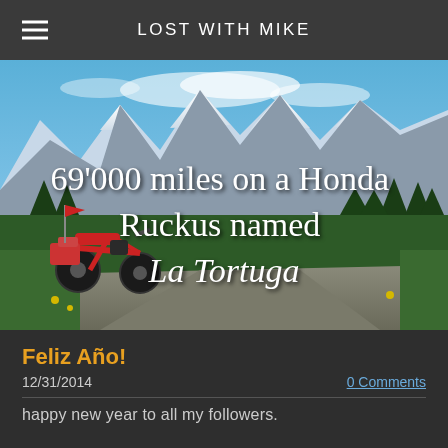LOST WITH MIKE
[Figure (photo): A Honda Ruckus motorcycle with luggage and a red flag parked on a gravel road, with dramatic snow-capped mountain peaks, conifer forest, and blue sky in the background. Overlaid white text reads: 69'000 miles on a Honda Ruckus named La Tortuga]
Feliz Año!
12/31/2014
0 Comments
happy new year to all my followers.